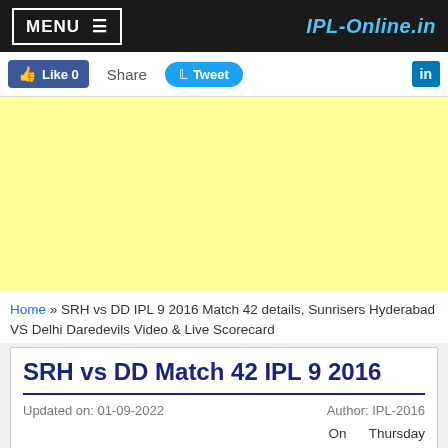MENU ≡   IPL-Online.in
[Figure (screenshot): Social share bar with Like 0 button, Share link, Tweet button, and LinkedIn icon]
[Figure (other): Yellow advertisement banner area]
Home » SRH vs DD IPL 9 2016 Match 42 details, Sunrisers Hyderabad VS Delhi Daredevils Video & Live Scorecard
SRH vs DD Match 42 IPL 9 2016
Updated on: 01-09-2022   Author: IPL-2016
On Thursday 12th May 2016, the 42nd match
[Figure (screenshot): Bottom social sharing icons: Facebook, Twitter, Google+, LinkedIn, Pinterest, Digg, Mix with share count 0]